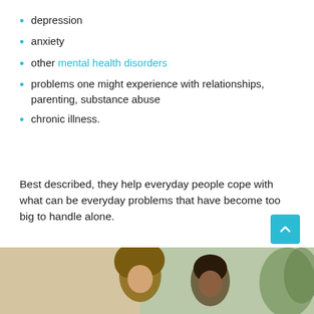depression
anxiety
other mental health disorders
problems one might experience with relationships, parenting, substance abuse
chronic illness.
Best described, they help everyday people cope with what can be everyday problems that have become too big to handle alone.
[Figure (photo): Two people sitting together, one with curly hair, in a counseling or meeting setting]